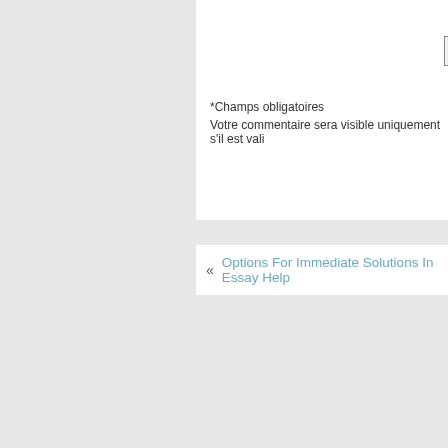Envoyer
*Champs obligatoires
Votre commentaire sera visible uniquement s'il est vali
« Options For Immediate Solutions In Essay Help